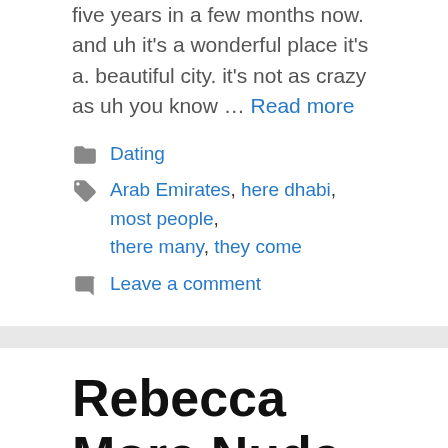five years in a few months now. and uh it's a wonderful place it's a. beautiful city. it's not as crazy as uh you know … Read more
Dating
Arab Emirates, here dhabi, most people, there many, they come
Leave a comment
Rebecca More Nude
29.08.2022 by Alfred
Rebecca More Nude – Aka: Rebecca More At